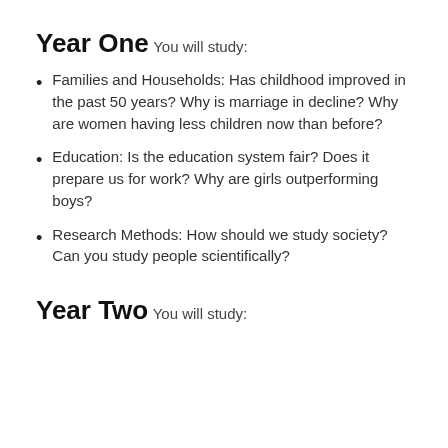Year One
You will study:
Families and Households: Has childhood improved in the past 50 years? Why is marriage in decline? Why are women having less children now than before?
Education: Is the education system fair? Does it prepare us for work? Why are girls outperforming boys?
Research Methods: How should we study society? Can you study people scientifically?
Year Two
You will study: